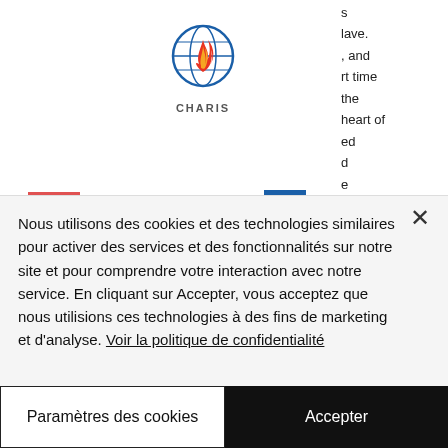[Figure (logo): CHARIS logo — globe with flame and blue lines, text CHARIS below]
Renouveau Namur-Luxembourg
casino games. Play slots, blackjack, live casino, roulette and more. You've found the
Nous utilisons des cookies et des technologies similaires pour activer des services et des fonctionnalités sur notre site et pour comprendre votre interaction avec notre service. En cliquant sur Accepter, vous acceptez que nous utilisions ces technologies à des fins de marketing et d'analyse. Voir la politique de confidentialité
Paramètres des cookies
Accepter